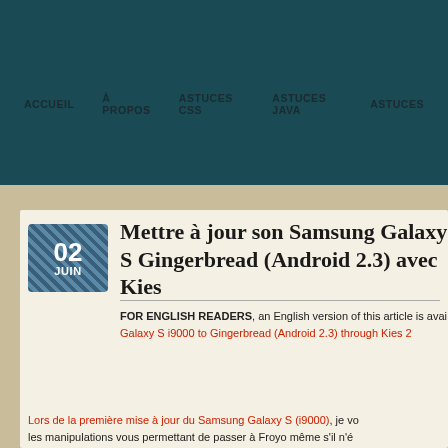ACCUEIL   À PROPOS   ASTUCES CSS   ASTUCES JAVA   ASTUCES
Mettre à jour son Samsung Galaxy S Gingerbread (Android 2.3) avec Kies
FOR ENGLISH READERS, an English version of this article is available: Galaxy S i9000 to Gingerbread (Android 2.3) through Kies 2
Lors de la première mise à jour du Samsung Galaxy S (i9000), je vo les manipulations vous permettant de passer à Froyo même s'il n'é